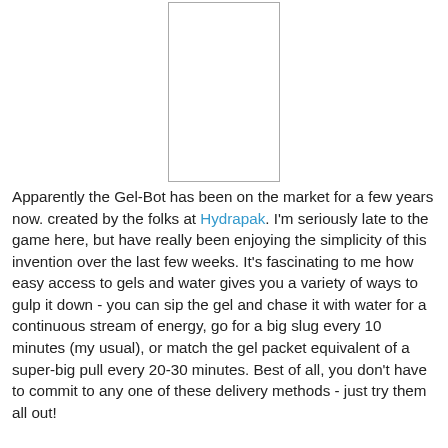[Figure (other): A white rectangular placeholder image with a thin gray border, centered in the upper portion of the page.]
Apparently the Gel-Bot has been on the market for a few years now. created by the folks at Hydrapak. I'm seriously late to the game here, but have really been enjoying the simplicity of this invention over the last few weeks. It's fascinating to me how easy access to gels and water gives you a variety of ways to gulp it down - you can sip the gel and chase it with water for a continuous stream of energy, go for a big slug every 10 minutes (my usual), or match the gel packet equivalent of a super-big pull every 20-30 minutes. Best of all, you don't have to commit to any one of these delivery methods - just try them all out!